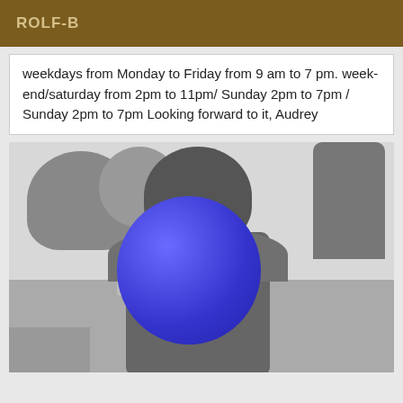ROLF-B
weekdays from Monday to Friday from 9 am to 7 pm. week-end/saturday from 2pm to 11pm/ Sunday 2pm to 7pm / Sunday 2pm to 7pm Looking forward to it, Audrey
[Figure (photo): Black and white photo of a person outdoors on a balcony with cars and trees visible in the background. The person's face is covered by a large blue circle for privacy.]